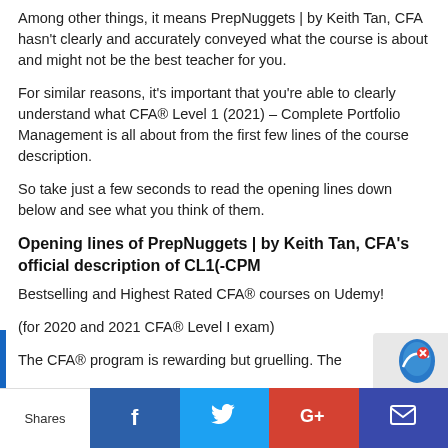Among other things, it means PrepNuggets | by Keith Tan, CFA hasn't clearly and accurately conveyed what the course is about and might not be the best teacher for you.
For similar reasons, it's important that you're able to clearly understand what CFA® Level 1 (2021) – Complete Portfolio Management is all about from the first few lines of the course description.
So take just a few seconds to read the opening lines down below and see what you think of them.
Opening lines of PrepNuggets | by Keith Tan, CFA's official description of CL1(-CPM
Bestselling and Highest Rated CFA® courses on Udemy!
(for 2020 and 2021 CFA® Level I exam)
The CFA® program is rewarding but gruelling. The
Shares | Facebook | Twitter | Google+ | Email